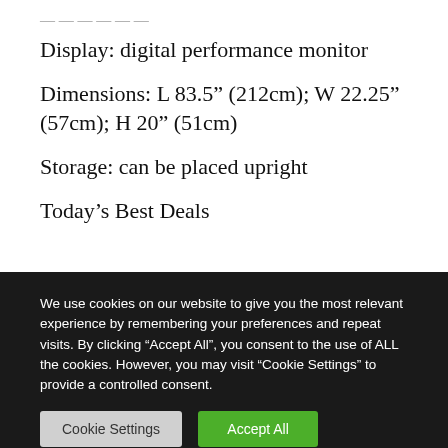Display: digital performance monitor
Dimensions: L 83.5” (212cm); W 22.25” (57cm); H 20” (51cm)
Storage: can be placed upright
Today’s Best Deals
We use cookies on our website to give you the most relevant experience by remembering your preferences and repeat visits. By clicking “Accept All”, you consent to the use of ALL the cookies. However, you may visit “Cookie Settings” to provide a controlled consent.